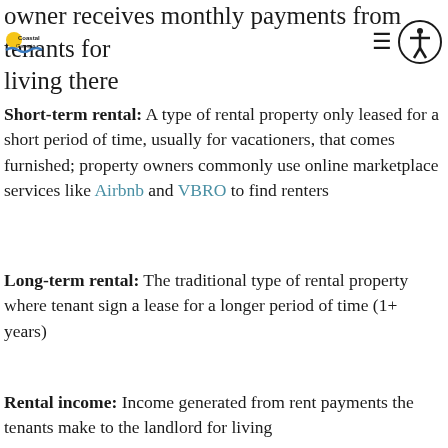owner receives monthly payments from tenants for living there
Short-term rental: A type of rental property only leased for a short period of time, usually for vacationers, that comes furnished; property owners commonly use online marketplace services like Airbnb and VBRO to find renters
Long-term rental: The traditional type of rental property where tenant sign a lease for a longer period of time (1+ years)
Rental income: Income generated from rent payments the tenants make to the landlord for living